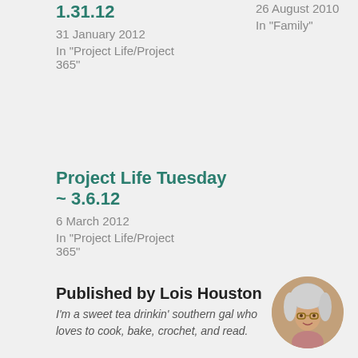1.31.12
31 January 2012
In "Project Life/Project 365"
26 August 2010
In "Family"
Project Life Tuesday ~ 3.6.12
6 March 2012
In "Project Life/Project 365"
Published by Lois Houston
I'm a sweet tea drinkin' southern gal who loves to cook, bake, crochet, and read.
[Figure (photo): Circular portrait photo of Lois Houston, a woman with gray and white wavy hair wearing glasses]